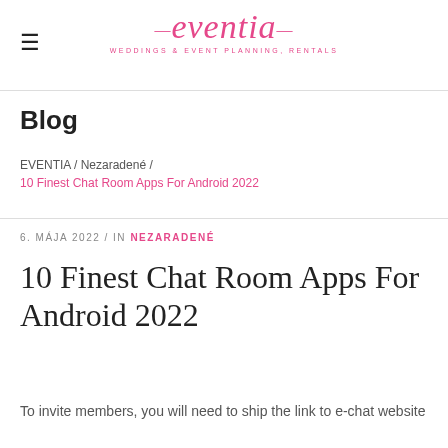eventia — WEDDINGS & EVENT PLANNING, RENTALS —
Blog
EVENTIA / Nezaradené / 10 Finest Chat Room Apps For Android 2022
6. MÁJA 2022 / IN NEZARADENÉ
10 Finest Chat Room Apps For Android 2022
To invite members, you will need to ship the link to e-chat website